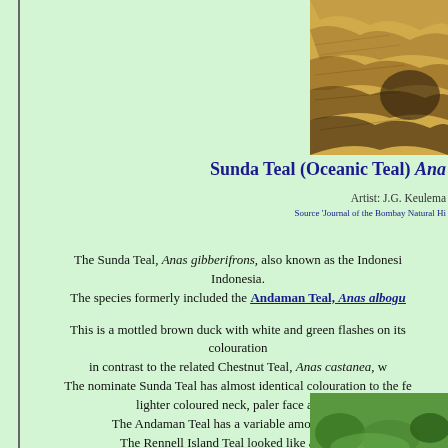[Figure (illustration): Illustration of a Sunda Teal duck, showing mottled brown plumage with feather detail, artist J.G. Keulemans]
Sunda Teal (Oceanic Teal) Ana
Artist: J.G. Keulema
Source 'Journal of the Bombay Natural Hi
The Sunda Teal, Anas gibberifrons, also known as the Indonesi... Indonesia. The species formerly included the Andaman Teal, Anas albogu...
This is a mottled brown duck with white and green flashes on its... colouration in contrast to the related Chestnut Teal, Anas castanea, w... The nominate Sunda Teal has almost identical colouration to the fe... lighter coloured neck, paler face and es... The Andaman Teal has a variable amount of whi... The Rennell Island Teal looked like a smaller... with a stubbier bill. Juveniles are paler tha...
[Figure (photo): Photograph of Sunda Teal in green vegetation, partially visible at bottom right]